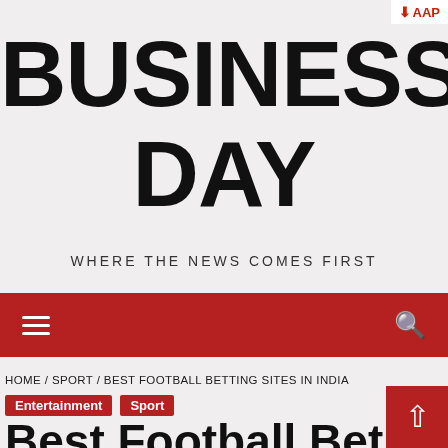AAP
BUSINESS DAY
WHERE THE NEWS COMES FIRST
[Figure (other): Red navigation bar with hamburger menu icon on left and search icon on right]
HOME / SPORT / BEST FOOTBALL BETTING SITES IN INDIA
Entertainment  Sport
Best Football Betting